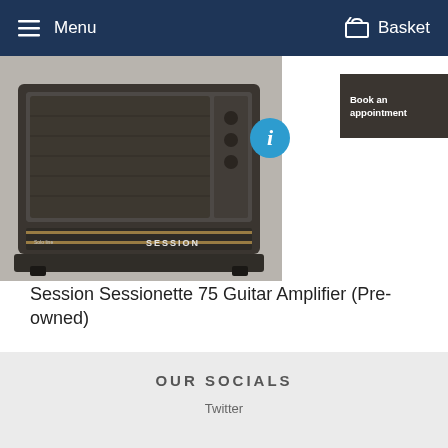Menu   Basket
[Figure (photo): Session Sessionette 75 Guitar Amplifier product photo, showing a dark-colored combo amplifier with 'SESSION' logo visible]
Book an appointment
Session Sessionette 75 Guitar Amplifier (Pre-owned)
£300.00
OUR SOCIALS
Twitter